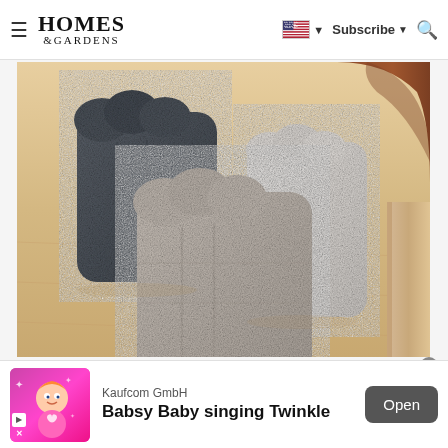HOMES & GARDENS — Subscribe — Search
[Figure (photo): Three boucle fabric ottomans/stools in different sizes and colors (dark charcoal, light gray/beige, and white) arranged on a light wood floor next to a round wooden table leg and a wooden panel.]
[Figure (illustration): Advertisement banner: Kaufcom GmbH — Babsy Baby singing Twinkle. Shows animated baby character on pink/magenta background with Open button.]